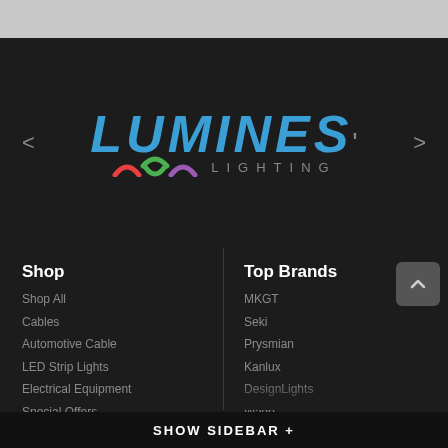[Figure (logo): Lumines Lighting logo with blue bold italic text and colorful arch icons below]
Shop
Shop All
Cables
Automotive Cable
LED Strip Lights
Electrical Equipment
Special Offers
Top Brands
MKGT
Seki
Prysmian
Kanlux
DesignLights
Wago
Knightsbridge
GTV
InDee
SHOW SIDEBAR +